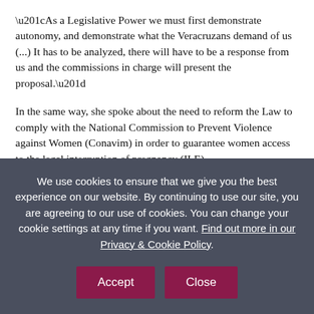“As a Legislative Power we must first demonstrate autonomy, and demonstrate what the Veracruzans demand of us (...) It has to be analyzed, there will have to be a response from us and the commissions in charge will present the proposal.”
In the same way, she spoke about the need to reform the Law to comply with the National Commission to Prevent Violence against Women (Conavim) in order to guarantee women access to the legal interruption of pregnancy (ILE).
Published in XEU.com on May 18,2018
Congreso analiza determinación de la SCIN
We use cookies to ensure that we give you the best experience on our website. By continuing to use our site, you are agreeing to our use of cookies. You can change your cookie settings at any time if you want. Find out more in our Privacy & Cookie Policy.